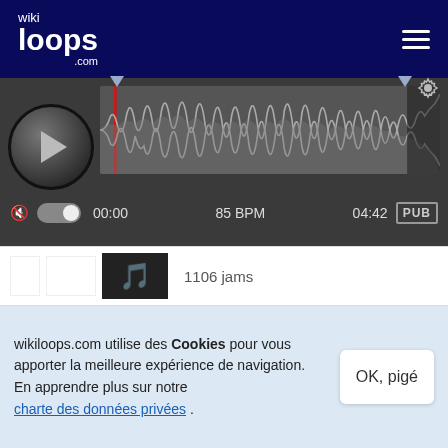[Figure (screenshot): Wikiloops.com header with logo and hamburger menu on dark navy background]
[Figure (screenshot): Audio player with waveform, play button, time display 00:00, 85 BPM, 04:42, and PUB badge]
1106 jams
autres instruments:
[Figure (illustration): Guitar icon thumbnail]
wikiloops.com utilise des Cookies pour vous apporter la meilleure expérience de navigation. En apprendre plus sur notre charte des données privées .
OK, pigé